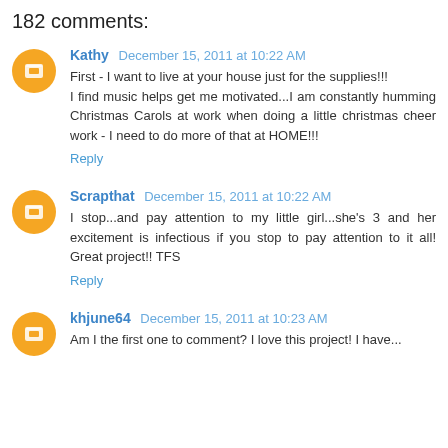182 comments:
Kathy December 15, 2011 at 10:22 AM
First - I want to live at your house just for the supplies!!!
I find music helps get me motivated...I am constantly humming Christmas Carols at work when doing a little christmas cheer work - I need to do more of that at HOME!!!
Reply
Scrapthat December 15, 2011 at 10:22 AM
I stop...and pay attention to my little girl...she's 3 and her excitement is infectious if you stop to pay attention to it all! Great project!! TFS
Reply
khjune64 December 15, 2011 at 10:23 AM
Am I the first one to comment? I love this project! I have...